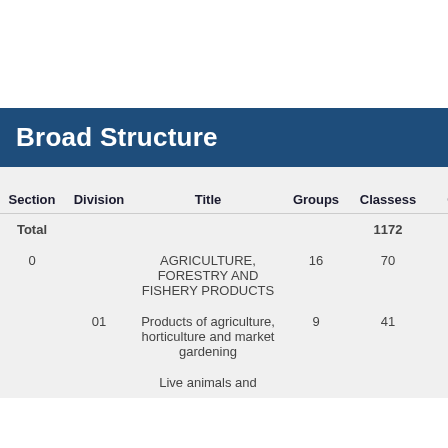Broad Structure
| Section | Division | Title | Groups | Classess | Sub Classes |
| --- | --- | --- | --- | --- | --- |
| Total |  |  |  | 1172 | 231 |
| 0 |  | AGRICULTURE, FORESTRY AND FISHERY PRODUCTS | 16 | 70 | 16 |
|  | 01 | Products of agriculture, horticulture and market gardening | 9 | 41 | 10 |
|  |  | Live animals and |  |  |  |